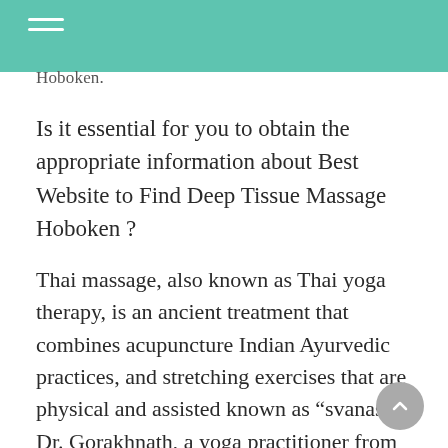Hoboken.
Is it essential for you to obtain the appropriate information about Best Website to Find Deep Tissue Massage Hoboken ?
Thai massage, also known as Thai yoga therapy, is an ancient treatment that combines acupuncture Indian Ayurvedic practices, and stretching exercises that are physical and assisted known as “svanas”. Dr. Gorakhnath, a yoga practitioner from India discovered the Shen lines (assyutanic) concept. His discoveries were significant in